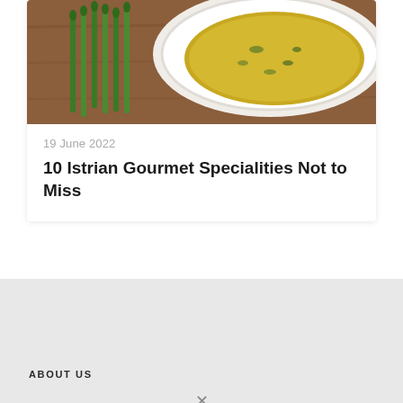[Figure (photo): Food photo showing asparagus and a dish with yellow/green food on a white plate, on a wooden surface]
19 June 2022
10 Istrian Gourmet Specialities Not to Miss
ABOUT US